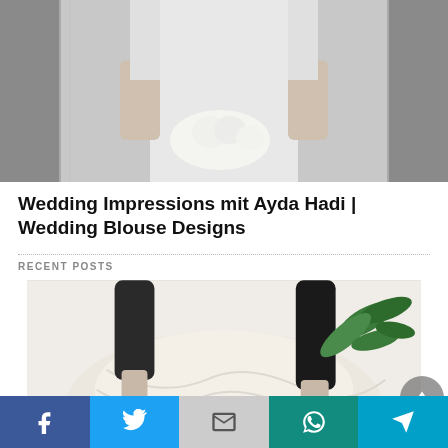[Figure (photo): Wedding photo showing a person in a white wedding outfit holding a white fluffy bouquet, standing near a glass door/elevator, cropped at torso level.]
Wedding Impressions mit Ayda Hadi | Wedding Blouse Designs
RECENT POSTS
[Figure (photo): Wedding dress fitting photo showing a person in a white lacy/sheer ball gown skirt being adjusted, with a dark-sleeved hand visible and a green plant in the background.]
Social share bar with Facebook, Twitter, Gmail, WhatsApp, and Send buttons